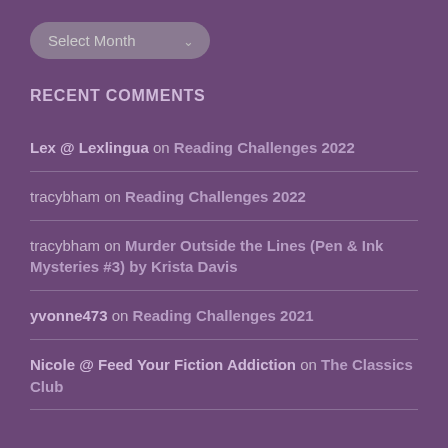[Figure (screenshot): Dropdown selector showing 'Select Month' with arrow]
RECENT COMMENTS
Lex @ Lexlingua on Reading Challenges 2022
tracybham on Reading Challenges 2022
tracybham on Murder Outside the Lines (Pen & Ink Mysteries #3) by Krista Davis
yvonne473 on Reading Challenges 2021
Nicole @ Feed Your Fiction Addiction on The Classics Club